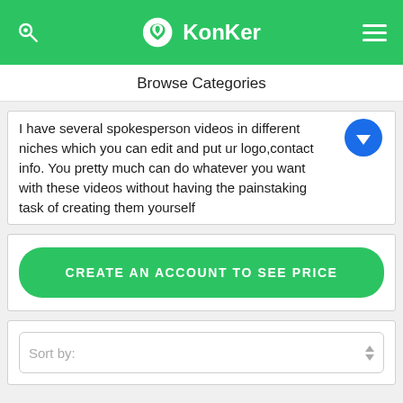KonKer
Browse Categories
I have several spokesperson videos in different niches which you can edit and put ur logo,contact info. You pretty much can do whatever you want with these videos without having the painstaking task of creating them yourself
CREATE AN ACCOUNT TO SEE PRICE
Sort by: